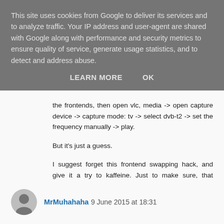This site uses cookies from Google to deliver its services and to analyze traffic. Your IP address and user-agent are shared with Google along with performance and security metrics to ensure quality of service, generate usage statistics, and to detect and address abuse.
LEARN MORE   OK
the frontends, then open vlc, media -> open capture device -> capture mode: tv -> select dvb-t2 -> set the frequency manually -> play.
But it's just a guess.
I suggest forget this frontend swapping hack, and give it a try to kaffeine. Just to make sure, that everything is working fine.
Reply
MrMuhahaha 9 June 2015 at 18:31